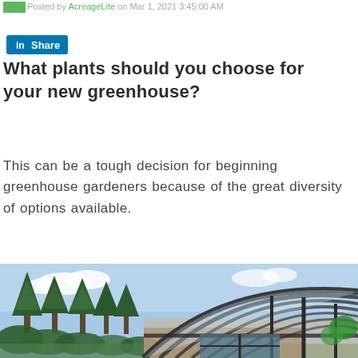Posted by AcreageLite on Mar 1, 2021 3:45:00 AM
Share (LinkedIn button)
What plants should you choose for your new greenhouse?
This can be a tough decision for beginning greenhouse gardeners because of the great diversity of options available.
[Figure (photo): Exterior photo of a glass greenhouse with curved roof panels and dark metal framing, surrounded by evergreen trees under a partly cloudy sky.]